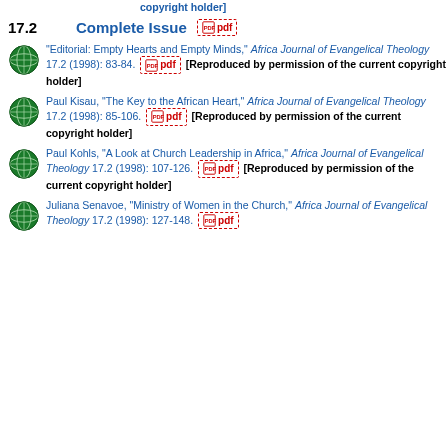copyright holder]
17.2  Complete Issue  [pdf]
"Editorial: Empty Hearts and Empty Minds," Africa Journal of Evangelical Theology 17.2 (1998): 83-84. [pdf] [Reproduced by permission of the current copyright holder]
Paul Kisau, "The Key to the African Heart," Africa Journal of Evangelical Theology 17.2 (1998): 85-106. [pdf] [Reproduced by permission of the current copyright holder]
Paul Kohls, "A Look at Church Leadership in Africa," Africa Journal of Evangelical Theology 17.2 (1998): 107-126. [pdf] [Reproduced by permission of the current copyright holder]
Juliana Senavoe, "Ministry of Women in the Church," Africa Journal of Evangelical Theology 17.2 (1998): 127-148. [pdf]